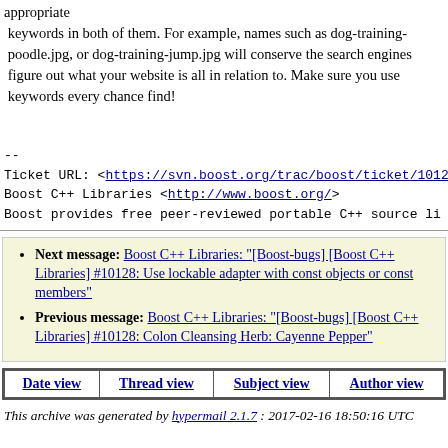appropriate keywords in both of them. For example, names such as dog-training-poodle.jpg, or dog-training-jump.jpg will conserve the search engines figure out what your website is all in relation to. Make sure you use keywords every chance find!
--
Ticket URL: <https://svn.boost.org/trac/boost/ticket/1012
Boost C++ Libraries <http://www.boost.org/>
Boost provides free peer-reviewed portable C++ source li
Next message: Boost C++ Libraries: "[Boost-bugs] [Boost C++ Libraries] #10128: Use lockable adapter with const objects or const members"
Previous message: Boost C++ Libraries: "[Boost-bugs] [Boost C++ Libraries] #10128: Colon Cleansing Herb: Cayenne Pepper"
| Date view | Thread view | Subject view | Author view |
| --- | --- | --- | --- |
This archive was generated by hypermail 2.1.7 : 2017-02-16 18:50:16 UTC